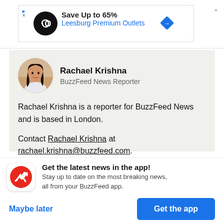[Figure (screenshot): Advertisement banner: black circular logo with infinity symbol, text 'Save Up to 65% Leesburg Premium Outlets', blue diamond navigation icon, ad label indicators]
[Figure (photo): Circular profile photo of Rachael Krishna, a woman with long dark hair]
Rachael Krishna
BuzzFeed News Reporter
Rachael Krishna is a reporter for BuzzFeed News and is based in London.
Contact Rachael Krishna at rachael.krishna@buzzfeed.com.
[Figure (logo): BuzzFeed app icon: red circle with white upward trending arrow]
Get the latest news in the app! Stay up to date on the most breaking news, all from your BuzzFeed app.
Maybe later
Get the app